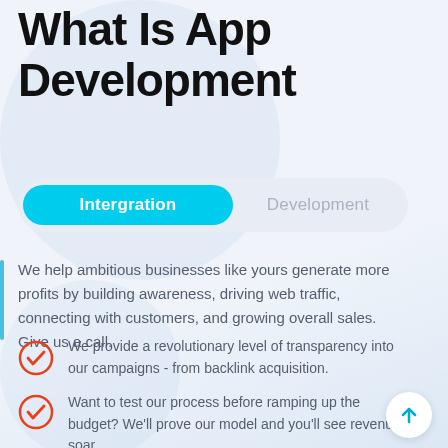What Is App Development
Intergration | Development
We help ambitious businesses like yours generate more profits by building awareness, driving web traffic, connecting with customers, and growing overall sales. Give us a call.
We provide a revolutionary level of transparency into our campaigns - from backlink acquisition.
Want to test our process before ramping up the budget? We'll prove our model and you'll see revenue soar.